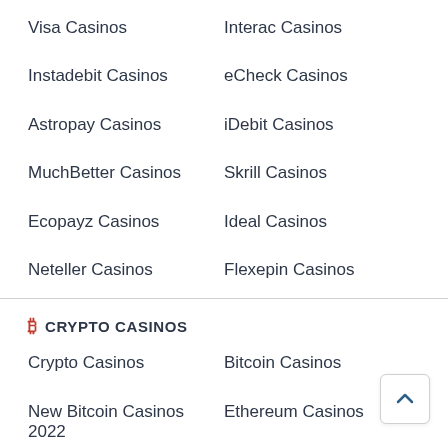Visa Casinos
Interac Casinos
Instadebit Casinos
eCheck Casinos
Astropay Casinos
iDebit Casinos
MuchBetter Casinos
Skrill Casinos
Ecopayz Casinos
Ideal Casinos
Neteller Casinos
Flexepin Casinos
CRYPTO CASINOS
Crypto Casinos
Bitcoin Casinos
New Bitcoin Casinos 2022
Ethereum Casinos
Tether Casinos
Monero Casinos
Litecoin Casinos